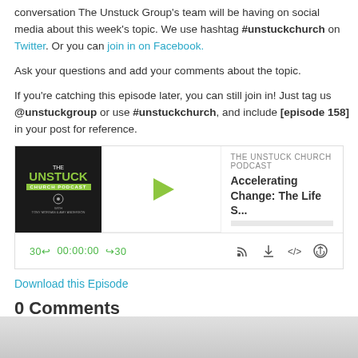conversation The Unstuck Group's team will be having on social media about this week's topic. We use hashtag #unstuckchurch on Twitter. Or you can join in on Facebook.
Ask your questions and add your comments about the topic.
If you're catching this episode later, you can still join in! Just tag us @unstuckgroup or use #unstuckchurch, and include [episode 158] in your post for reference.
[Figure (screenshot): Podcast player widget for The Unstuck Church Podcast, episode 'Accelerating Change: The Life S...' with play button, progress bar, time controls showing 30s back, 00:00:00, 30s forward, and icons for RSS, download, embed, and share.]
Download this Episode
0 Comments
Adding comments is not available at this time.